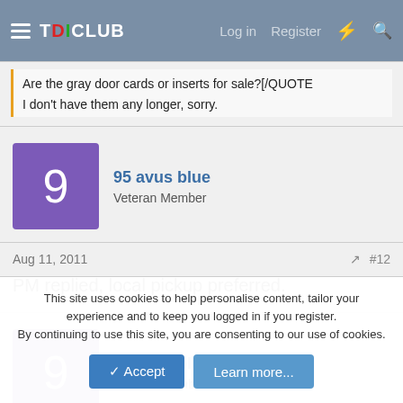TDICLUB — Log in   Register
Are the gray door cards or inserts for sale?[/QUOTE
I don't have them any longer, sorry.
95 avus blue
Veteran Member
Aug 11, 2011   #12
PM replied, local pickup preferred.
95 avus blue
Veteran Member
This site uses cookies to help personalise content, tailor your experience and to keep you logged in if you register.
By continuing to use this site, you are consenting to our use of cookies.